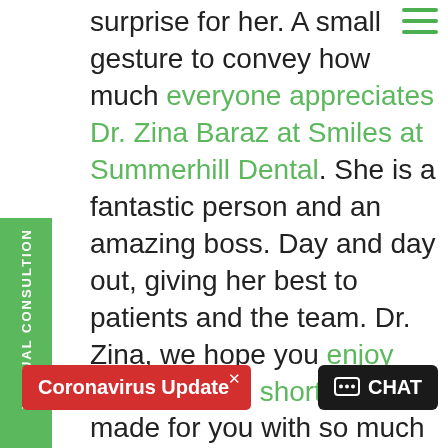surprise for her. A small gesture to convey how much everyone appreciates Dr. Zina Baraz at Smiles at Summerhill Dental. She is a fantastic person and an amazing boss. Day and day out, giving her best to patients and the team. Dr. Zina, we hope you enjoy watching this short film we made for you with so much love and smiles!
[Figure (photo): Stone wall background with people visible at the bottom]
Coronavirus Update ×
CHAT